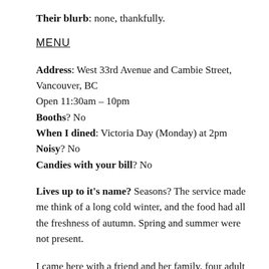Their blurb: none, thankfully.
MENU
Address: West 33rd Avenue and Cambie Street, Vancouver, BC
Open 11:30am – 10pm
Booths? No
When I dined: Victoria Day (Monday) at 2pm
Noisy? No
Candies with your bill? No
Lives up to it's name? Seasons? The service made me think of a long cold winter, and the food had all the freshness of autumn. Spring and summer were not present.
I came here with a friend and her family, four adult diners. When we arrived on time for our reservation the hostess